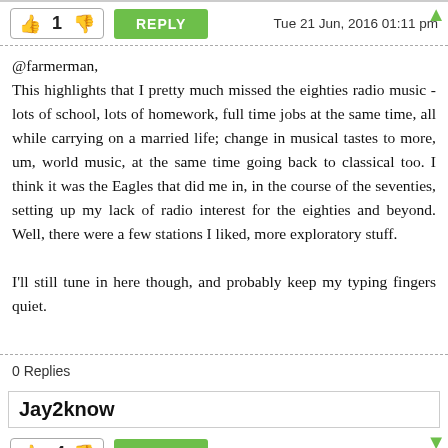1  REPLY  Tue 21 Jun, 2016 01:11 pm
@farmerman,
This highlights that I pretty much missed the eighties radio music - lots of school, lots of homework, full time jobs at the same time, all while carrying on a married life; change in musical tastes to more, um, world music, at the same time going back to classical too. I think it was the Eagles that did me in, in the course of the seventies, setting up my lack of radio interest for the eighties and beyond. Well, there were a few stations I liked, more exploratory stuff.

I'll still tune in here though, and probably keep my typing fingers quiet.
0 Replies
Jay2know
-4  REPLY  Tue 21 Jun, 2016 07:57 pm